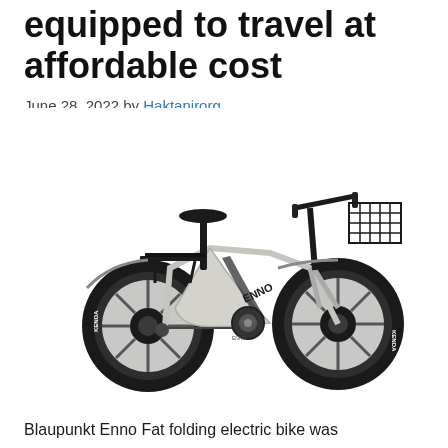equipped to travel at affordable cost
June 28, 2022 by Haktanirorg
[Figure (photo): Blaupunkt Enno Fat folding electric bike, light gray/white frame with fat tires, front basket, rear luggage rack, viewed from the left side against white background]
Blaupunkt Enno Fat folding electric bike was